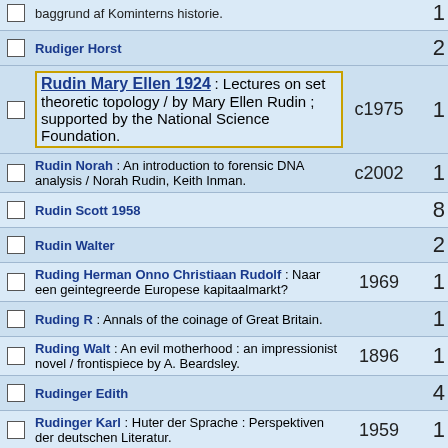baggrund af Kominterns historie. — 1
Rudiger Horst — 2
Rudin Mary Ellen 1924 : Lectures on set theoretic topology / by Mary Ellen Rudin ; supported by the National Science Foundation. c1975 — 1
Rudin Norah : An introduction to forensic DNA analysis / Norah Rudin, Keith Inman. c2002 — 1
Rudin Scott 1958 — 8
Rudin Walter — 2
Ruding Herman Onno Christiaan Rudolf : Naar een geintegreerde Europese kapitaalmarkt? 1969 — 1
Ruding R : Annals of the coinage of Great Britain. — 1
Ruding Walt : An evil motherhood : an impressionist novel / frontispiece by A. Beardsley. 1896 — 1
Rudinger Edith — 4
Rudinger Karl : Huter der Sprache : Perspektiven der deutschen Literatur. 1959 — 1
Rudinow Joel : Soul music : tracking the spiritual roots of pop from Plato to Motown / by Joel Rudinow. c2010 — 1